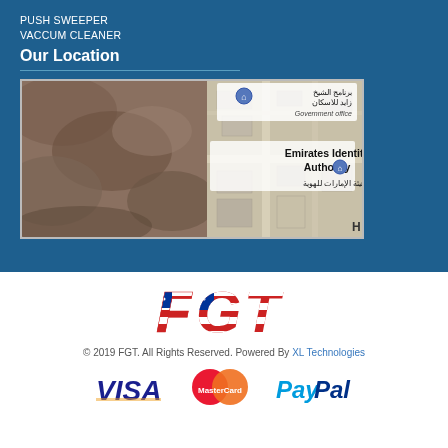PUSH SWEEPER
VACCUM CLEANER
Our Location
[Figure (map): Google Maps satellite view showing Emirates Identity Authority and a Government office in what appears to be the UAE. Arabic text visible: برنامج الشيخ زايد للاسكان and هيئة الإمارات للهوية.]
[Figure (logo): FGT company logo with American flag pattern coloring]
© 2019 FGT. All Rights Reserved. Powered By XL Technologies
[Figure (logo): Payment method logos: VISA, MasterCard, PayPal]